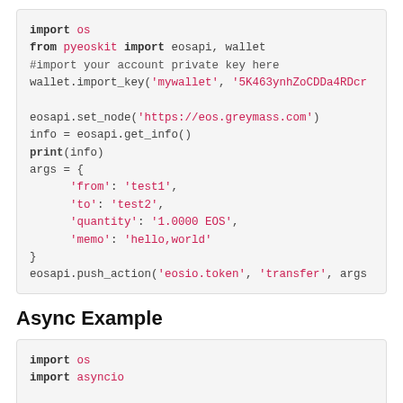[Figure (screenshot): Code block showing Python example with import os, from pyeoskit import eosapi wallet, wallet.import_key, eosapi.set_node, info = eosapi.get_info(), print(info), args dict with from/to/quantity/memo keys, and eosapi.push_action call]
Async Example
[Figure (screenshot): Code block showing beginning of async example with import os and import asyncio]